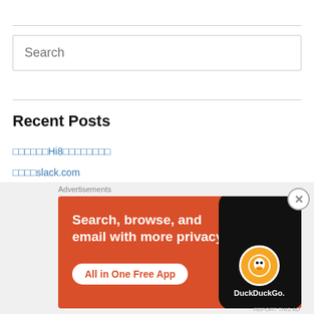Search (placeholder)
Recent Posts
□□□□□□Hi8□□□□□□□□
□□□□slack.com
AM□□□□□□□□□□
□□□□□□□□□2024□10□1□□□□□
□□□□□□□□□□□
[Figure (screenshot): DuckDuckGo advertisement banner: 'Search, browse, and email with more privacy. All in One Free App' on orange background with phone image and DuckDuckGo logo. Labeled 'Advertisements'.]